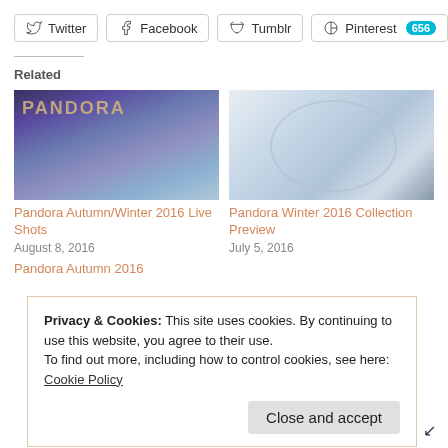Twitter
Facebook
Tumblr
Pinterest 656
Related
[Figure (photo): Pandora branded floral background image for Pandora Autumn/Winter 2016 Live Shots]
Pandora Autumn/Winter 2016 Live Shots
August 8, 2016
[Figure (photo): Pandora Winter 2016 Collection Preview - glass dome with winter floral arrangement]
Pandora Winter 2016 Collection Preview
July 5, 2016
Privacy & Cookies: This site uses cookies. By continuing to use this website, you agree to their use.
To find out more, including how to control cookies, see here: Cookie Policy
Close and accept
Pandora Autumn 2016